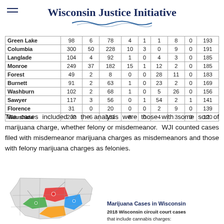Wisconsin Justice Initiative
| County | Col1 | Col2 | Col3 | Col4 | Col5 | Col6 | Col7 | Col8 |
| --- | --- | --- | --- | --- | --- | --- | --- | --- |
| Green Lake | 98 | 6 | 78 | 4 | 1 | 1 | 8 | 0 | 193 |
| Columbia | 300 | 50 | 228 | 10 | 3 | 0 | 9 | 0 | 191 |
| Langlade | 104 | 4 | 92 | 1 | 0 | 4 | 3 | 0 | 185 |
| Monroe | 249 | 37 | 182 | 15 | 1 | 12 | 2 | 0 | 185 |
| Forest | 49 | 2 | 8 | 0 | 0 | 28 | 11 | 0 | 183 |
| Burnett | 91 | 2 | 63 | 1 | 0 | 23 | 2 | 0 | 169 |
| Washburn | 102 | 2 | 68 | 1 | 0 | 5 | 26 | 0 | 156 |
| Sawyer | 117 | 3 | 56 | 0 | 1 | 54 | 2 | 1 | 141 |
| Florence | 31 | 0 | 20 | 0 | 0 | 2 | 9 | 0 | 139 |
| Waushara | 202 | 6 | 181 | 8 | 0 | 4 | 3 | 0 | 120 |
The cases included in the analysis were those with some sort of marijuana charge, whether felony or misdemeanor. WJI counted cases filed with misdemeanor marijuana charges as misdemeanors and those with felony marijuana charges as felonies.
[Figure (map): Map of Wisconsin counties showing marijuana cases, with a legend titled 'Marijuana Cases in Wisconsin' and subtitle '2018 Wisconsin circuit court cases that include cannabis charges:']